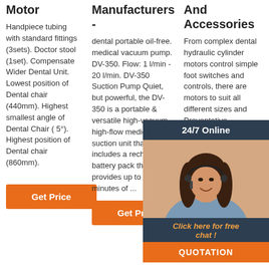Motor
Handpiece tubing with standard fittings (3sets). Doctor stool (1set). Compensate Wider Dental Unit. Lowest position of Dental chair (440mm). Highest smallest angle of Dental Chair ( 5°). Highest position of Dental chair (860mm).
Get Price
Manufacturers -
dental portable oil-free. medical vacuum pump. DV-350. Flow: 1 l/min - 20 l/min. DV-350 Suction Pump Quiet, but powerful, the DV-350 is a portable & versatile high-vacuum, high-flow medical suction unit that includes a rechargeable battery pack that provides up to 40 minutes of ...
Get Price
And Accessories
From complex dental hydraulic cylinder motors control simple foot switches and controls, there are motors to suit all different sizes and Preventative Maintenance (PM) schedules. By buying these items directly from our website, you can save money when
[Figure (photo): Customer service representative woman with headset smiling, overlaid with a chat widget showing '24/7 Online', 'Click here for free chat!', and 'QUOTATION' button]